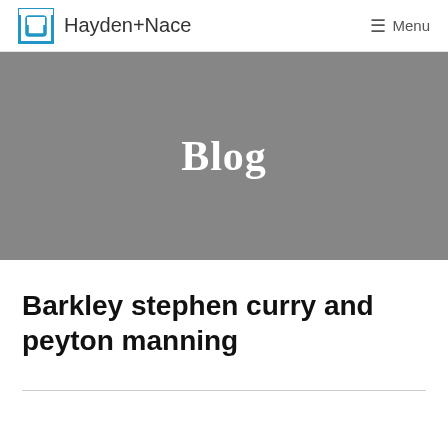Hayden+Nace | Menu
Blog
Barkley stephen curry and peyton manning